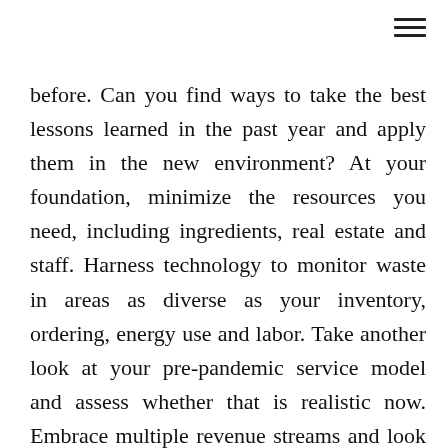before. Can you find ways to take the best lessons learned in the past year and apply them in the new environment? At your foundation, minimize the resources you need, including ingredients, real estate and staff. Harness technology to monitor waste in areas as diverse as your inventory, ordering, energy use and labor. Take another look at your pre-pandemic service model and assess whether that is realistic now. Embrace multiple revenue streams and look for new ones that could help you adapt more easily to challenges going forward. Finally, think about how you can continue to act at a grassroots level to keep customers engaged with your menu and brand – from creating rotating dinner subscriptions that you promote on social media to offering meal bundles for delivery to